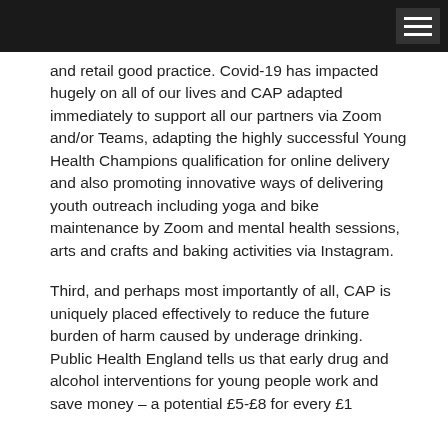and retail good practice. Covid-19 has impacted hugely on all of our lives and CAP adapted immediately to support all our partners via Zoom and/or Teams, adapting the highly successful Young Health Champions qualification for online delivery and also promoting innovative ways of delivering youth outreach including yoga and bike maintenance by Zoom and mental health sessions, arts and crafts and baking activities via Instagram.
Third, and perhaps most importantly of all, CAP is uniquely placed effectively to reduce the future burden of harm caused by underage drinking. Public Health England tells us that early drug and alcohol interventions for young people work and save money – a potential £5-£8 for every £1 invested in this work. In the long run, it is better